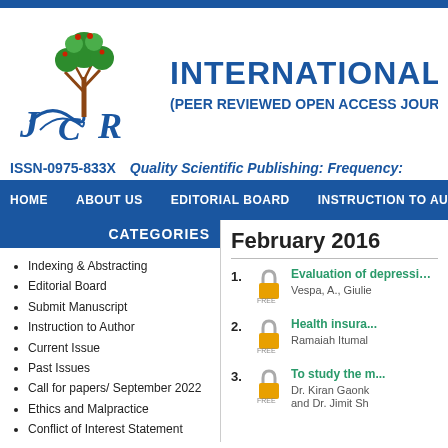[Figure (logo): Journal logo with tree and letters JCR]
INTERNATIONAL JO
(PEER REVIEWED OPEN ACCESS JOUR
ISSN-0975-833X   Quality Scientific Publishing: Frequency:
HOME   ABOUT US   EDITORIAL BOARD   INSTRUCTION TO AUT
CATEGORIES
Indexing & Abstracting
Editorial Board
Submit Manuscript
Instruction to Author
Current Issue
Past Issues
Call for papers/ September 2022
Ethics and Malpractice
Conflict of Interest Statement
February 2016
1. Evaluation of depression in v... Vespa, A., Giulie
2. Health insura... Ramaiah Itumal
3. To study the m... Dr. Kiran Gaonk and Dr. Jimit Sh